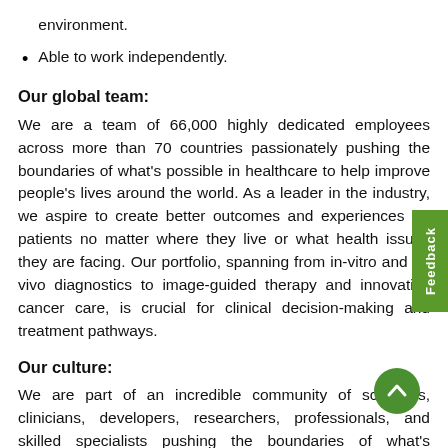environment.
Able to work independently.
Our global team:
We are a team of 66,000 highly dedicated employees across more than 70 countries passionately pushing the boundaries of what's possible in healthcare to help improve people's lives around the world. As a leader in the industry, we aspire to create better outcomes and experiences for patients no matter where they live or what health issues they are facing. Our portfolio, spanning from in-vitro and in-vivo diagnostics to image-guided therapy and innovative cancer care, is crucial for clinical decision-making and treatment pathways.
Our culture:
We are part of an incredible community of scientists, clinicians, developers, researchers, professionals, and skilled specialists pushing the boundaries of what's possible, to improve people's lives around the world. We embrace a culture of inclusivity in which the power and potential of every individual can be unleashed. We spark